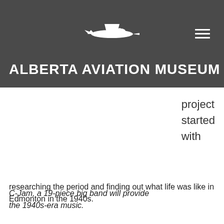ALBERTA AVIATION MUSEUM
project started with
C-Jam, a 19-piece big band will provide the 1940s-era music.
researching the period and finding out what life was like in Edmonton in the 1940s.